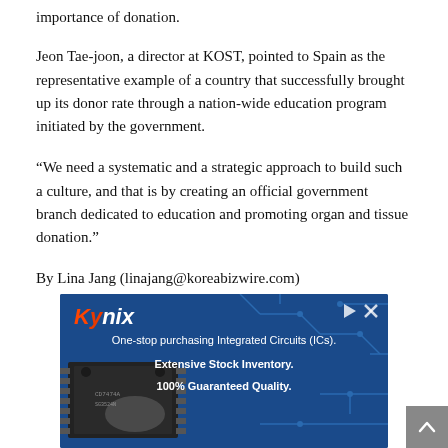importance of donation.
Jeon Tae-joon, a director at KOST, pointed to Spain as the representative example of a country that successfully brought up its donor rate through a nation-wide education program initiated by the government.
“We need a systematic and a strategic approach to build such a culture, and that is by creating an official government branch dedicated to education and promoting organ and tissue donation.”
By Lina Jang (linajang@koreabizwire.com)
[Figure (photo): Kynix advertisement banner with blue background showing an integrated circuit chip and text: One-stop purchasing Integrated Circuits (ICs). Extensive Stock Inventory. 100% Guaranteed Quality.]